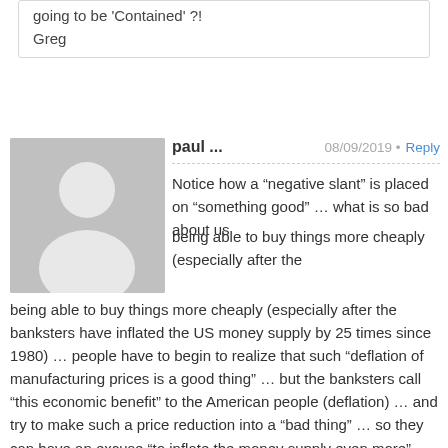going to be 'Contained' ?!
Greg
paul ...
08/09/2019 • Reply
[Figure (illustration): Gray avatar placeholder icon showing a silhouette of a person]
Notice how a “negative slant” is placed on “something good” … what is so bad about us being able to buy things more cheaply (especially after the banksters have inflated the US money supply by 25 times since 1980) … people have to begin to realize that such “deflation of manufacturing prices is a good thing” … but the banksters call “this economic benefit” to the American people (deflation) … and try to make such a price reduction into a “bad thing” … so they can have an excuse “to inflate the money supply even more” and take away any benefit the American people get by manufactures finding ways to reduce prices for us!! … people falsely think “deflation” (cheaper prices) will lower the price of their gold and silver holdings … this absolutely not so … because the price of gold and silver are based upon how many dollars the banksters “have already created” (and there is 25 times more US dollars in circulation today then back in 1980 and